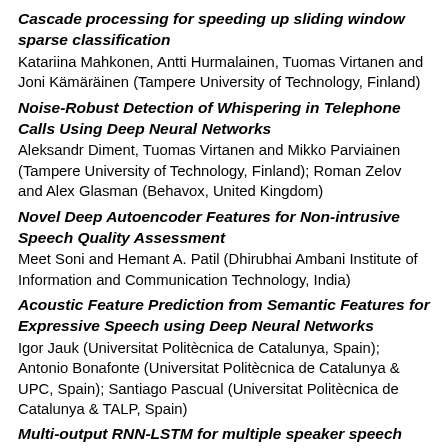Cascade processing for speeding up sliding window sparse classification
Katariina Mahkonen, Antti Hurmalainen, Tuomas Virtanen and Joni Kämäräinen (Tampere University of Technology, Finland)
Noise-Robust Detection of Whispering in Telephone Calls Using Deep Neural Networks
Aleksandr Diment, Tuomas Virtanen and Mikko Parviainen (Tampere University of Technology, Finland); Roman Zelov and Alex Glasman (Behavox, United Kingdom)
Novel Deep Autoencoder Features for Non-intrusive Speech Quality Assessment
Meet Soni and Hemant A. Patil (Dhirubhai Ambani Institute of Information and Communication Technology, India)
Acoustic Feature Prediction from Semantic Features for Expressive Speech using Deep Neural Networks
Igor Jauk (Universitat Politècnica de Catalunya, Spain); Antonio Bonafonte (Universitat Politècnica de Catalunya & UPC, Spain); Santiago Pascual (Universitat Politècnica de Catalunya & TALP, Spain)
Multi-output RNN-LSTM for multiple speaker speech synthesis and adaptation
Santiago Pascual (Universitat Politècnica de Catalunya & TALP, Spain); Antonio Bonafonte (Universitat Politècnica de